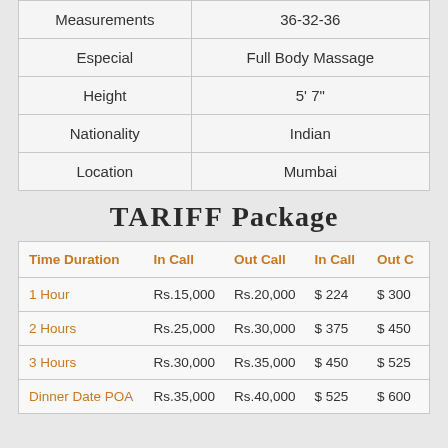|  |  |
| --- | --- |
| Measurements | 36-32-36 |
| Especial | Full Body Massage |
| Height | 5' 7" |
| Nationality | Indian |
| Location | Mumbai |
TARIFF Package
| Time Duration | In Call | Out Call | In Call | Out C |
| --- | --- | --- | --- | --- |
| 1 Hour | Rs.15,000 | Rs.20,000 | $ 224 | $ 300 |
| 2 Hours | Rs.25,000 | Rs.30,000 | $ 375 | $ 450 |
| 3 Hours | Rs.30,000 | Rs.35,000 | $ 450 | $ 525 |
| Dinner Date POA | Rs.35,000 | Rs.40,000 | $ 525 | $ 600 |